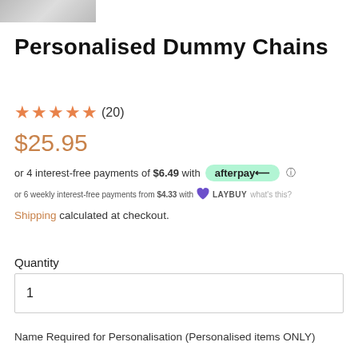[Figure (photo): Thumbnail image of product at top left]
Personalised Dummy Chains
★★★★★ (20)
$25.95
or 4 interest-free payments of $6.49 with afterpay ⓘ
or 6 weekly interest-free payments from $4.33 with LAYBUY what's this?
Shipping calculated at checkout.
Quantity
1
Name Required for Personalisation (Personalised items ONLY)